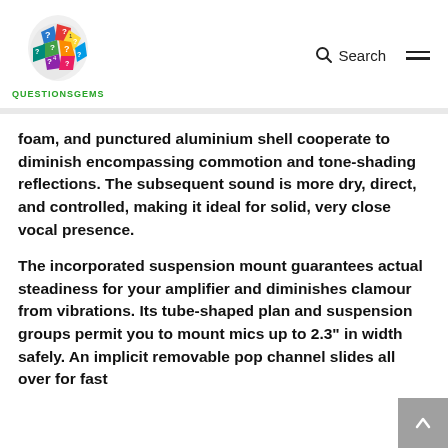[Figure (logo): QuestionGems logo: colorful head silhouette filled with question marks and geometric shapes in multiple colors, with text QUESTIONSGEMS below in green]
Search [hamburger menu icon]
foam, and punctured aluminium shell cooperate to diminish encompassing commotion and tone-shading reflections. The subsequent sound is more dry, direct, and controlled, making it ideal for solid, very close vocal presence.
The incorporated suspension mount guarantees actual steadiness for your amplifier and diminishes clamour from vibrations. Its tube-shaped plan and suspension groups permit you to mount mics up to 2.3" in width safely. An implicit removable pop channel slides all over for fast